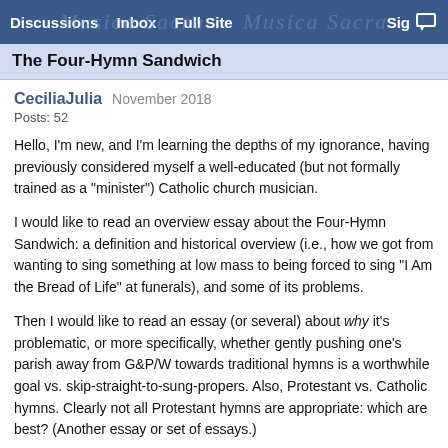Discussions   Inbox   Full Site   Sig
The Four-Hymn Sandwich
CeciliaJulia   November 2018
Posts: 52
Hello, I'm new, and I'm learning the depths of my ignorance, having previously considered myself a well-educated (but not formally trained as a "minister") Catholic church musician.
I would like to read an overview essay about the Four-Hymn Sandwich: a definition and historical overview (i.e., how we got from wanting to sing something at low mass to being forced to sing "I Am the Bread of Life" at funerals), and some of its problems.
Then I would like to read an essay (or several) about why it's problematic, or more specifically, whether gently pushing one's parish away from G&P/W towards traditional hymns is a worthwhile goal vs. skip-straight-to-sung-propers. Also, Protestant vs. Catholic hymns. Clearly not all Protestant hymns are appropriate: which are best? (Another essay or set of essays.)
I've read a lot of old threads. What I'm looking for is a synthesis, here or on another site, or even in a (gasp) book. Is there any consensus, or only